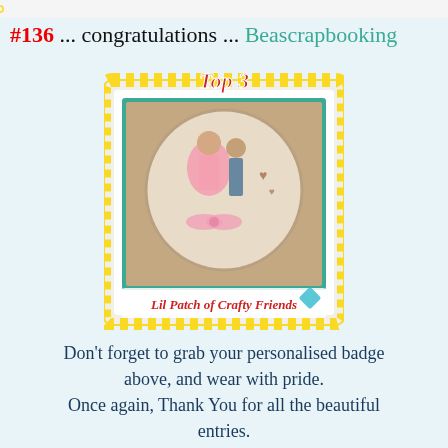[Figure (illustration): Decorative daisy/flower border strip at the top of the page]
#136 ... congratulations ... Beascrapbooking
[Figure (illustration): Top 3 badge from Lil Patch of Crafty Friends showing a romantic vintage scene with a girl in pink dress and a boy, surrounded by yellow daisy dotted border, with 'Top 3' text and 'Lil Patch of Crafty Friends' label at the bottom]
Don't forget to grab your personalised badge above, and wear with pride. Once again, Thank You for all the beautiful entries. We sincerely appreciated everyone joining